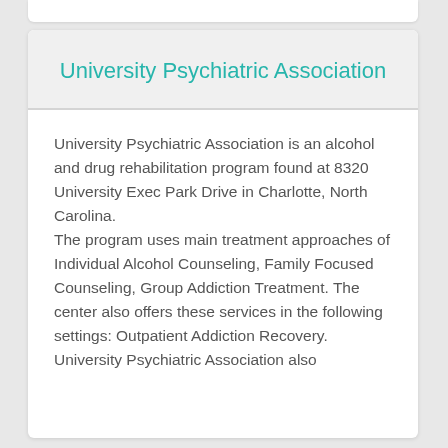University Psychiatric Association
University Psychiatric Association is an alcohol and drug rehabilitation program found at 8320 University Exec Park Drive in Charlotte, North Carolina.
The program uses main treatment approaches of Individual Alcohol Counseling, Family Focused Counseling, Group Addiction Treatment. The center also offers these services in the following settings: Outpatient Addiction Recovery.
University Psychiatric Association also